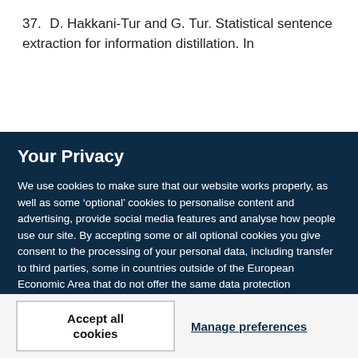37. D. Hakkani-Tur and G. Tur. Statistical sentence extraction for information distillation. In
Your Privacy
We use cookies to make sure that our website works properly, as well as some ‘optional’ cookies to personalise content and advertising, provide social media features and analyse how people use our site. By accepting some or all optional cookies you give consent to the processing of your personal data, including transfer to third parties, some in countries outside of the European Economic Area that do not offer the same data protection standards as the country where you live. You can decide which optional cookies to accept by clicking on ‘Manage Settings’, where you can also find more information about how your personal data is processed. Further information can be found in our privacy policy.
Accept all cookies
Manage preferences